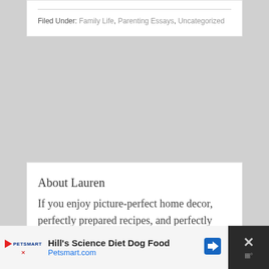Filed Under: Family Life, Parenting Essays, Uncategorized
About Lauren
If you enjoy picture-perfect home decor, perfectly prepared recipes, and perfectly behaved children, you've come to the wrong place. Meet Lauren. She isn't perfect, but she's perfectly real.
[Figure (screenshot): Advertisement banner for Hill's Science Diet Dog Food on Petsmart.com with PetSmart logo, a blue diamond arrow icon, and a close button on the right.]